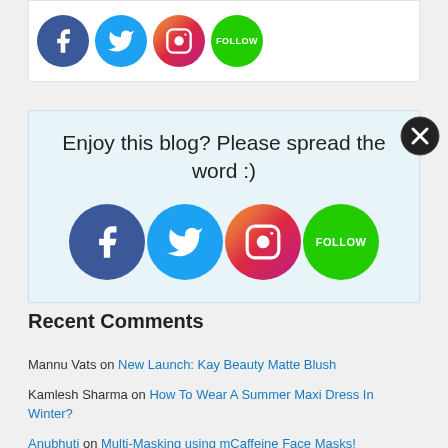[Figure (infographic): Social media share buttons bar at top: Facebook, Twitter, Instagram, Follow (green)]
[Figure (infographic): Close button (X) circle in dark gray/black]
Enjoy this blog? Please spread the word :)
[Figure (infographic): Large social media share buttons: Facebook, Twitter, Instagram, Follow (green)]
Recent Comments
Mannu Vats on New Launch: Kay Beauty Matte Blush
Kamlesh Sharma on How To Wear A Summer Maxi Dress In Winter?
Anubhuti on Multi-Masking using mCaffeine Face Masks!